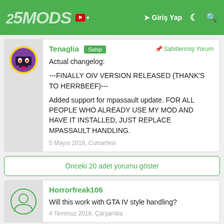5MODS | Giriş Yap
Tenaglia Sahip | Sabitlenmiş Yorum
Actual changelog:
---FINALLY OIV VERSION RELEASED (THANK'S TO HERRBEEF)---
Added support for mpassault update. FOR ALL PEOPLE WHO ALREADY USE MY MOD AND HAVE IT INSTALLED, JUST REPLACE MPASSAULT HANDLING.
5 Mayıs 2018, Cumartesi
Önceki 20 adet yorumu göster
Horrorfreak106
Will this work with GTA IV style handling?
4 Temmuz 2018, Çarşamba
Blackout ★★★★★